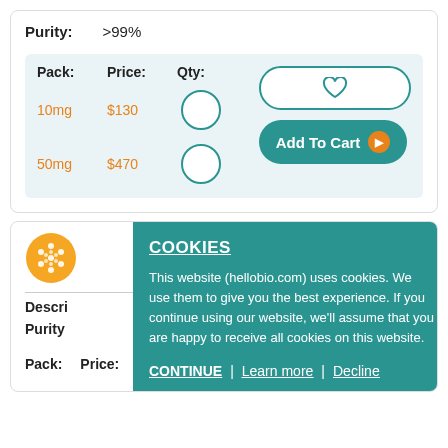Purity: >99%
| Pack: | Price: | Qty: |
| --- | --- | --- |
| 10mg | $130 |  |
| 50mg | $470 |  |
Add To Cart
[Figure (logo): Hello Bio orange circular logo]
Description
Purity
| Pack: | Price: | Qty: |
| --- | --- | --- |
COOKIES

This website (hellobio.com) uses cookies. We use them to give you the best experience. If you continue using our website, we'll assume that you are happy to receive all cookies on this website.

CONTINUE | Learn more | Decline